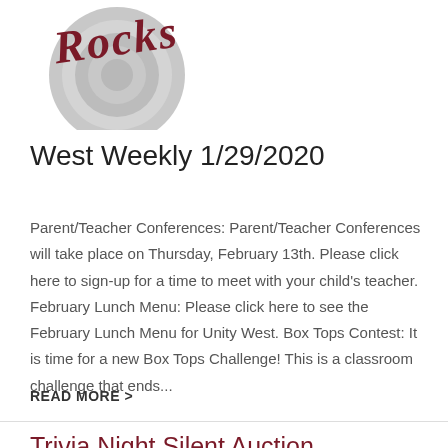[Figure (logo): School mascot logo — circular grey target/ring design with 'Rocks' in dark red cursive script]
West Weekly 1/29/2020
Parent/Teacher Conferences: Parent/Teacher Conferences will take place on Thursday, February 13th. Please click here to sign-up for a time to meet with your child's teacher. February Lunch Menu: Please click here to see the February Lunch Menu for Unity West. Box Tops Contest: It is time for a new Box Tops Challenge! This is a classroom challenge that ends...
READ MORE >
Trivia Night Silent Auction...